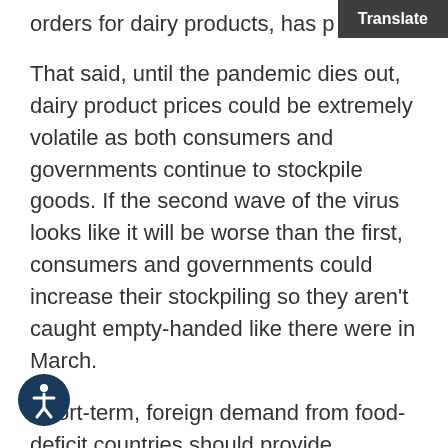orders for dairy products, has p…
That said, until the pandemic dies out, dairy product prices could be extremely volatile as both consumers and governments continue to stockpile goods. If the second wave of the virus looks like it will be worse than the first, consumers and governments could increase their stockpiling so they aren't caught empty-handed like there were in March.
Short-term, foreign demand from food-deficit countries should provide additional export opportunities for U.S.